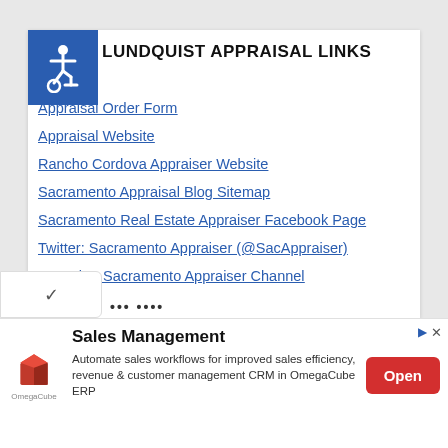[Figure (illustration): Blue square accessibility icon with white wheelchair symbol]
LUNDQUIST APPRAISAL LINKS
Appraisal Order Form
Appraisal Website
Rancho Cordova Appraiser Website
Sacramento Appraisal Blog Sitemap
Sacramento Real Estate Appraiser Facebook Page
Twitter: Sacramento Appraiser (@SacAppraiser)
YouTube: Sacramento Appraiser Channel
[Figure (screenshot): Expand/collapse chevron button area with dotted text below]
[Figure (infographic): Advertisement banner: Sales Management by OmegaCube ERP with Open button]